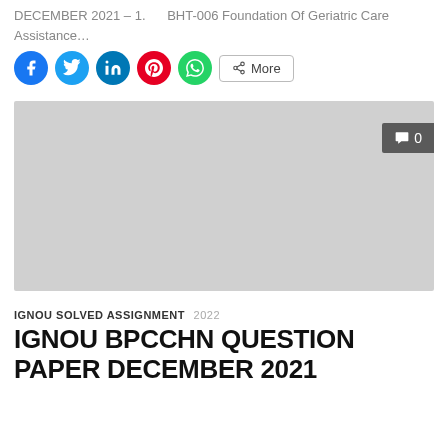DECEMBER 2021 – 1.      BHT-006 Foundation Of Geriatric Care Assistance…
[Figure (infographic): Social sharing buttons: Facebook (blue circle), Twitter (cyan circle), LinkedIn (dark blue circle), Pinterest (red circle), WhatsApp (green circle), and a More button with share icon]
[Figure (photo): Large gray placeholder image block with a comment count badge showing 0 in the top-right corner]
IGNOU SOLVED ASSIGNMENT  2022
IGNOU BPCCHN QUESTION PAPER DECEMBER 2021